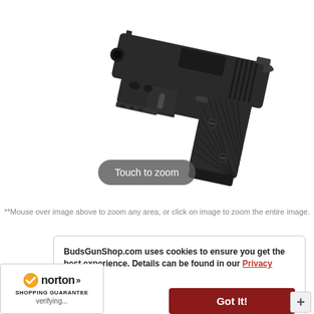[Figure (photo): A black semi-automatic pistol (compact 1911-style) shown at an angle against a white background, with checkered grip panels and a rail on the frame. A 'Touch to zoom' overlay button appears on the image.]
**Mouse over image above to zoom any area, or click on image to zoom the entire image.
BudsGunShop.com uses cookies to ensure you get the best experience. Details can be found in our Privacy Notice. Got It!
[Figure (logo): Norton Shopping Guarantee badge with checkmark logo and 'verifying...' text]